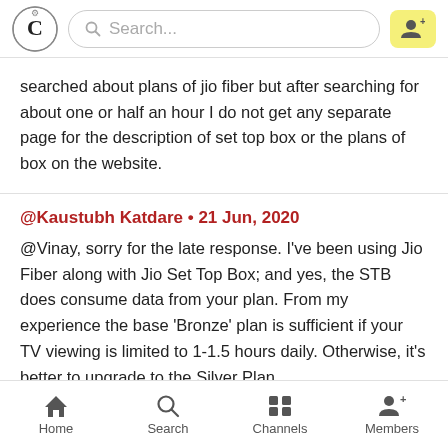Search...
searched about plans of jio fiber but after searching for about one or half an hour I do not get any separate page for the description of set top box or the plans of box on the website.
@Kaustubh Katdare • 21 Jun, 2020
@Vinay, sorry for the late response. I've been using Jio Fiber along with Jio Set Top Box; and yes, the STB does consume data from your plan. From my experience the base 'Bronze' plan is sufficient if your TV viewing is limited to 1-1.5 hours daily. Otherwise, it's better to upgrade to the Silver Plan.
Home | Search | Channels | Members